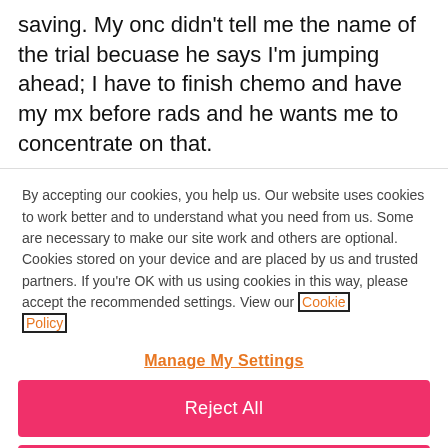saving. My onc didn't tell me the name of the trial becuase he says I'm jumping ahead; I have to finish chemo and have my mx before rads and he wants me to concentrate on that.
By accepting our cookies, you help us. Our website uses cookies to work better and to understand what you need from us. Some are necessary to make our site work and others are optional. Cookies stored on your device and are placed by us and trusted partners. If you're OK with us using cookies in this way, please accept the recommended settings. View our Cookie Policy
Manage My Settings
Reject All
Accept All Cookies